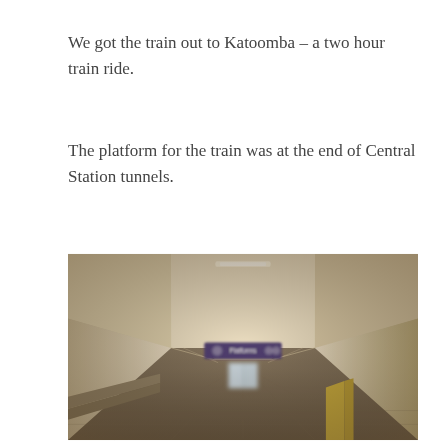We got the train out to Katoomba – a two hour train ride.
The platform for the train was at the end of Central Station tunnels.
[Figure (photo): A long underground tunnel corridor at Central Station, viewed from the center looking toward the far end. The tunnel has angled white ceiling panels with overhead lighting, a dark tiled floor, platform signs hanging from the ceiling in purple/dark color reading 'Platforms', and elevator doors visible at the far end. The photo has a warm, slightly faded/vintage tone with shallow depth of field (blurred at the far end).]